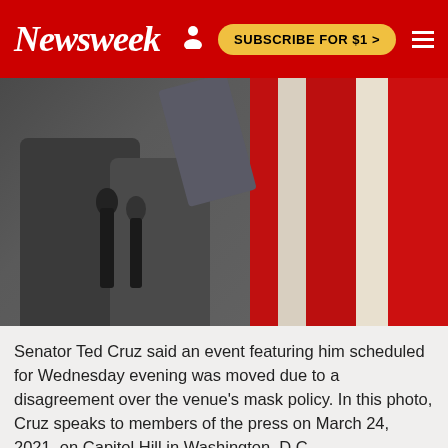Newsweek
[Figure (photo): Press conference scene with a person in a suit speaking at microphones in front of an American flag. March 24, 2021, Capitol Hill, Washington D.C.]
Senator Ted Cruz said an event featuring him scheduled for Wednesday evening was moved due to a disagreement over the venue's mask policy. In this photo, Cruz speaks to members of the press on March 24, 2021, on Capitol Hill in Washington, D.C.
ALEX WONG/GETTY IMAGES